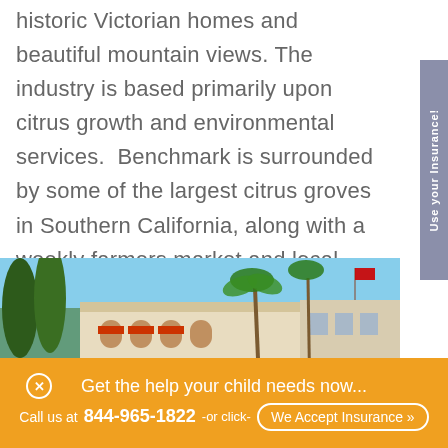historic Victorian homes and beautiful mountain views. The industry is based primarily upon citrus growth and environmental services. Benchmark is surrounded by some of the largest citrus groves in Southern California, along with a weekly farmers market and local organic farms. Another advantage – we're far enough away from the fast-paced temptations commonly found in the big city of Los Angeles.
[Figure (photo): Photograph of a historic Spanish-style building with palm trees, red awnings, and a flag, under a blue sky.]
Get the help your child needs now...
Call us at 844-965-1822 -or click- We Accept Insurance »